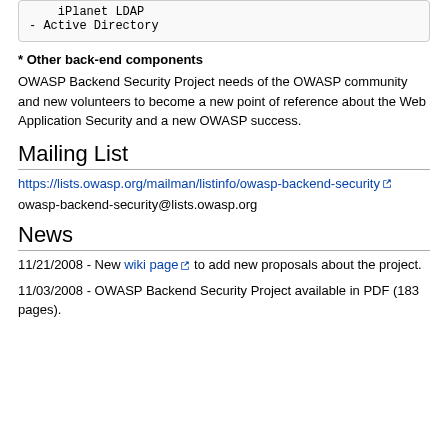[Figure (other): Code box showing '- iPlanet LDAP' and '- Active Directory' in monospace font]
* Other back-end components
OWASP Backend Security Project needs of the OWASP community and new volunteers to become a new point of reference about the Web Application Security and a new OWASP success.
Mailing List
https://lists.owasp.org/mailman/listinfo/owasp-backend-security
owasp-backend-security@lists.owasp.org
News
11/21/2008 - New wiki page to add new proposals about the project.
11/03/2008 - OWASP Backend Security Project available in PDF (183 pages).